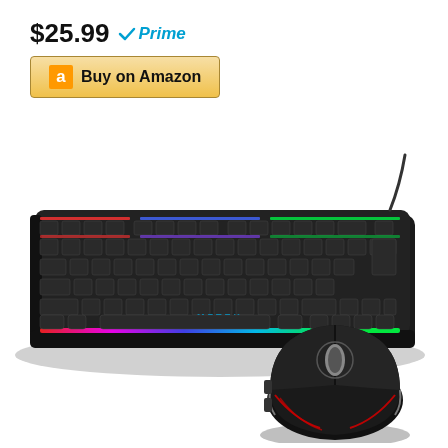$25.99 Prime
Buy on Amazon
[Figure (photo): Gaming keyboard and mouse combo. The keyboard (branded MFTEK) features RGB rainbow backlighting with red, blue, and green zones across the keys on a black body. A gaming mouse with red LED accents and scroll wheel detail sits below and to the right of the keyboard.]